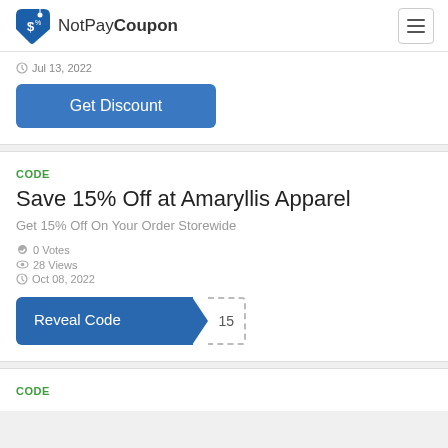NotPayCoupon
Jul 13, 2022
Get Discount
CODE
Save 15% Off at Amaryllis Apparel
Get 15% Off On Your Order Storewide
0 Votes
28 Views
Oct 08, 2022
Reveal Code  15
CODE